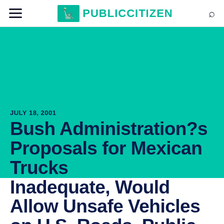PUBLIC CITIZEN
[Figure (other): Teal/cyan banner background area]
JULY 18, 2001
Bush Administration?s Proposals for Mexican Trucks Inadequate, Would Allow Unsafe Vehicles on U.S. Roads, Public Citizen Tells